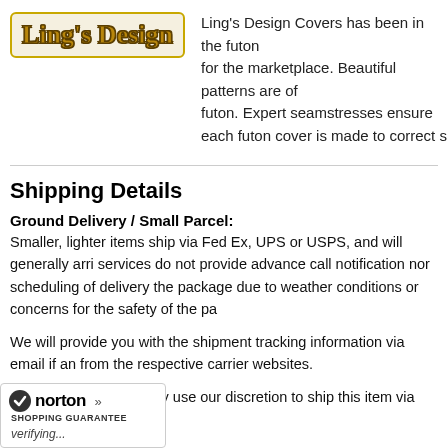[Figure (logo): Ling's Design logo with stylized golden text on a light background with golden border]
Ling's Design Covers has been in the futon for the marketplace. Beautiful patterns are of futon. Expert seamstresses ensure each futon cover is made to correct s
Shipping Details
Ground Delivery / Small Parcel:
Smaller, lighter items ship via Fed Ex, UPS or USPS, and will generally arri services do not provide advance call notification nor scheduling of delivery the package due to weather conditions or concerns for the safety of the pa
We will provide you with the shipment tracking information via email if an from the respective carrier websites.
Please note that we may use our discretion to ship this item via Truck Frei
[Figure (logo): Norton Shopping Guarantee badge with checkmark, norton text, arrows, and verifying... text]